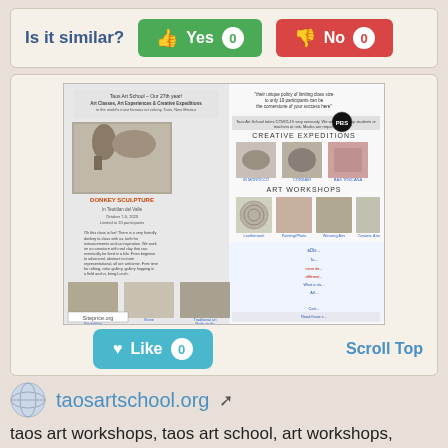Is it similar?
Yes 0
No 0
[Figure (screenshot): Screenshot of taosartschool.org website showing art workshops, creative expeditions, and donkey sculpture class information with multiple photos. Watermark: Siteprice.org]
Like 0
Scroll Top
taosartschool.org
taos art workshops, taos art school, art workshops, tours, painting, art expeditions, school, in the heart of